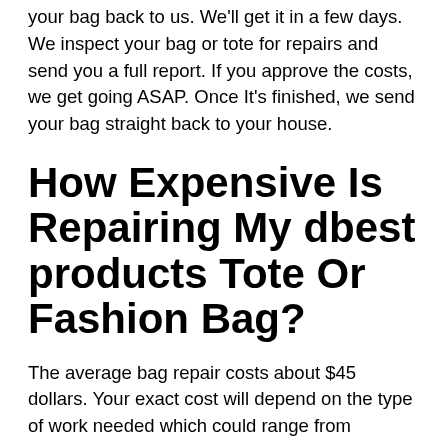your bag back to us. We'll get it in a few days. We inspect your bag or tote for repairs and send you a full report. If you approve the costs, we get going ASAP. Once It's finished, we send your bag straight back to your house.
How Expensive Is Repairing My dbest products Tote Or Fashion Bag?
The average bag repair costs about $45 dollars. Your exact cost will depend on the type of work needed which could range from